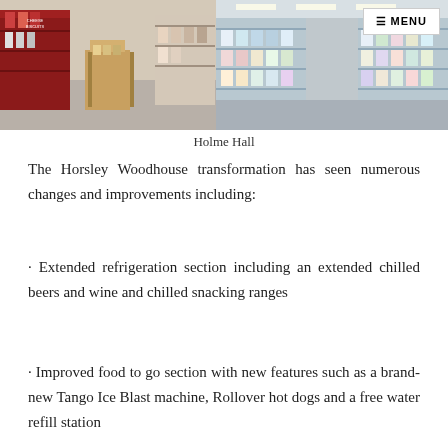[Figure (photo): Two photos of a convenience store interior side by side. Left photo shows store shelves with a red display unit. Right photo shows a refrigerated aisle with shelves on both sides. A MENU button overlay appears in the top right.]
Holme Hall
The Horsley Woodhouse transformation has seen numerous changes and improvements including:
· Extended refrigeration section including an extended chilled beers and wine and chilled snacking ranges
· Improved food to go section with new features such as a brand-new Tango Ice Blast machine, Rollover hot dogs and a free water refill station